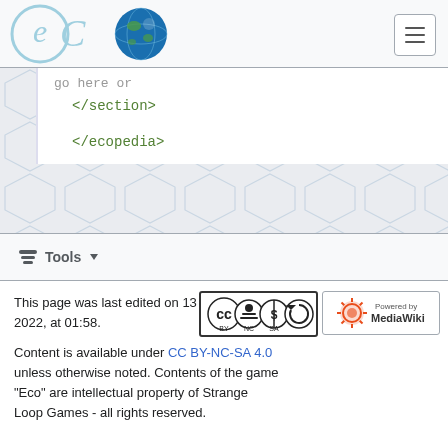eco logo + menu button
go here or
</section>

</ecopedia>
Tools
This page was last edited on 13 January 2022, at 01:58.
[Figure (logo): CC BY-NC-SA license badge]
[Figure (logo): Powered by MediaWiki badge]
Content is available under CC BY-NC-SA 4.0 unless otherwise noted. Contents of the game "Eco" are intellectual property of Strange Loop Games - all rights reserved.
Privacy policy
About Eco - English Wiki
Disclaimers